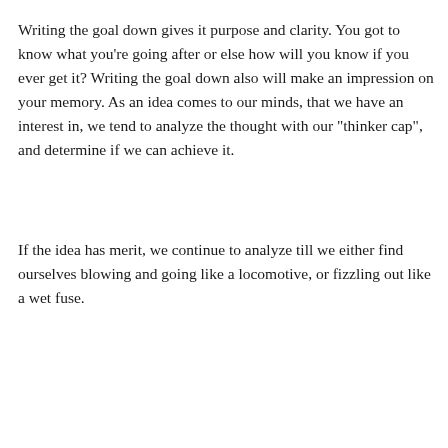Writing the goal down gives it purpose and clarity. You got to know what you're going after or else how will you know if you ever get it? Writing the goal down also will make an impression on your memory. As an idea comes to our minds, that we have an interest in, we tend to analyze the thought with our "thinker cap", and determine if we can achieve it.
If the idea has merit, we continue to analyze till we either find ourselves blowing and going like a locomotive, or fizzling out like a wet fuse.